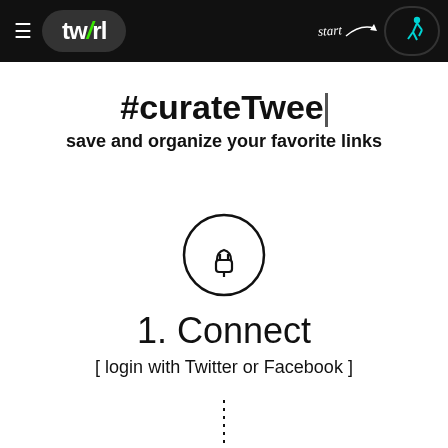tw/rl — start
#curateTwee
save and organize your favorite links
[Figure (illustration): Circular icon with a plug/connect symbol inside]
1. Connect
[ login with Twitter or Facebook ]
[Figure (illustration): Vertical dotted line indicating continuation]